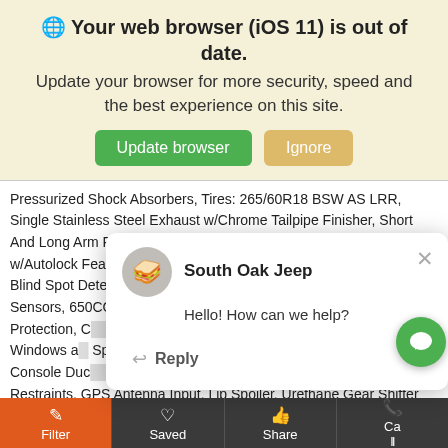🌐 Your web browser (iOS 11) is out of date. Update your browser for more security, speed and the best experience on this site.
Update browser | Ignore
Pressurized Shock Absorbers, Tires: 265/60R18 BSW AS LRR, Single Stainless Steel Exhaust w/Chrome Tailpipe Finisher, Short And Long Arm Front Suspension w/Coil Springs, Power Door Locks w/Autolock Feature, Dual Zone Front Automatic Air Conditioning, Blind Spot Detection Blind Spot, ParkSense with Stop Rear Parking Sensors, 650CCA Maintenance-Free Battery w/Run Down Protection, C...
South Oak Jeep
Hello! How can we help?
Reply
Restraints, GPS Antenna Input, Lip Spoiler, Urethane Gear Shifter Material, 60-40 Folding Split-Bench Front Facing Tumble Forward Rear Seat, Integrated Center Stack Radio, Fixed 50-50 Split-Be... Cloth 3rd Row Seat FrontManual Fold Into Floor2 Power and
Filter | Saved | Share | Call